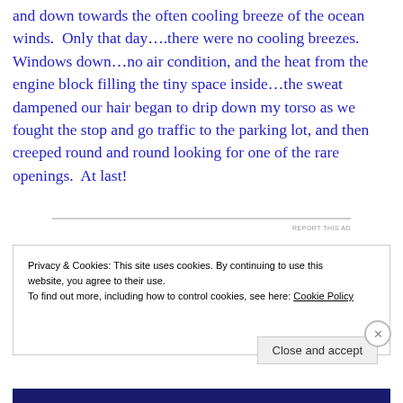and down towards the often cooling breeze of the ocean winds.  Only that day….there were no cooling breezes.  Windows down…no air condition, and the heat from the engine block filling the tiny space inside…the sweat dampened our hair began to drip down my torso as we fought the stop and go traffic to the parking lot, and then creeped round and round looking for one of the rare openings.  At last!
[Figure (other): Ad placeholder bar with 'REPORT THIS AD' text]
Privacy & Cookies: This site uses cookies. By continuing to use this website, you agree to their use.
To find out more, including how to control cookies, see here: Cookie Policy
Close and accept